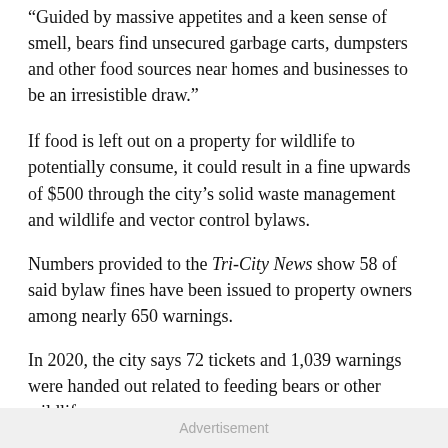“Guided by massive appetites and a keen sense of smell, bears find unsecured garbage carts, dumpsters and other food sources near homes and businesses to be an irresistible draw.”
If food is left out on a property for wildlife to potentially consume, it could result in a fine upwards of $500 through the city’s solid waste management and wildlife and vector control bylaws.
Numbers provided to the Tri-City News show 58 of said bylaw fines have been issued to property owners among nearly 650 warnings.
In 2020, the city says 72 tickets and 1,039 warnings were handed out related to feeding bears or other wildlife.
Advertisement